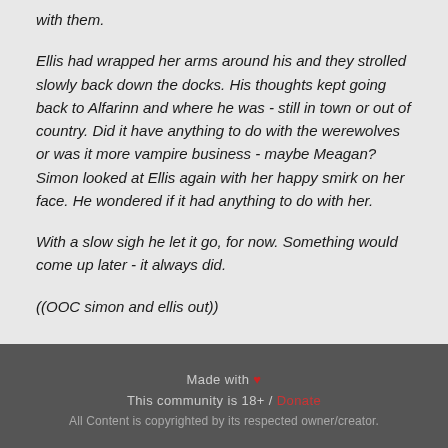with them.
Ellis had wrapped her arms around his and they strolled slowly back down the docks. His thoughts kept going back to Alfarinn and where he was - still in town or out of country. Did it have anything to do with the werewolves or was it more vampire business - maybe Meagan? Simon looked at Ellis again with her happy smirk on her face. He wondered if it had anything to do with her.
With a slow sigh he let it go, for now. Something would come up later - it always did.
((OOC simon and ellis out))
Made with ♥
This community is 18+ / Donate
All Content is copyrighted by its respected owner/creator.